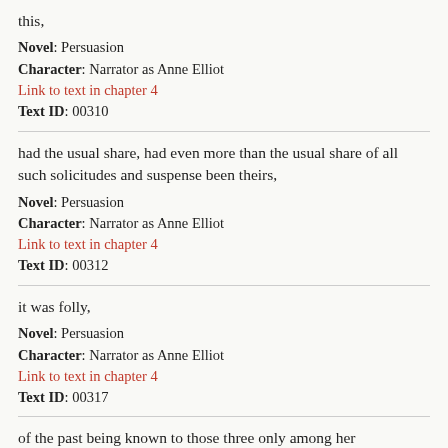this,
Novel: Persuasion
Character: Narrator as Anne Elliot
Link to text in chapter 4
Text ID: 00310
had the usual share, had even more than the usual share of all such solicitudes and suspense been theirs,
Novel: Persuasion
Character: Narrator as Anne Elliot
Link to text in chapter 4
Text ID: 00312
it was folly,
Novel: Persuasion
Character: Narrator as Anne Elliot
Link to text in chapter 4
Text ID: 00317
of the past being known to those three only among her connexions, by whom no syllable,